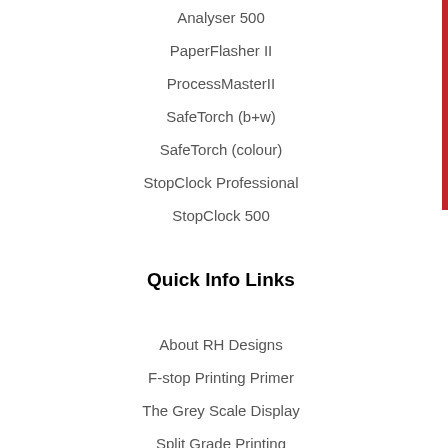Analyser 500
PaperFlasher II
ProcessMasterII
SafeTorch (b+w)
SafeTorch (colour)
StopClock Professional
StopClock 500
Quick Info Links
About RH Designs
F-stop Printing Primer
The Grey Scale Display
Split Grade Printing
Flashing and Fogging
Meter Calibration
User Manuals